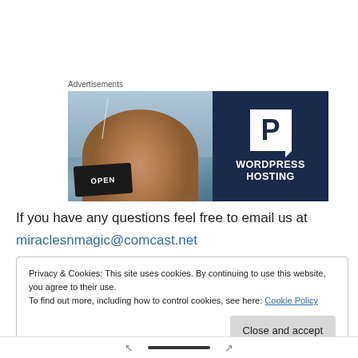Advertisements
[Figure (illustration): WordPress Hosting advertisement banner. Left half shows a photo of a smiling woman holding an OPEN sign in front of a shop window. Right half is dark navy blue with a white 'P' logo and the text 'WORDPRESS HOSTING' in white bold letters.]
If you have any questions feel free to email us at
miraclesnmagic@comcast.net
Privacy & Cookies: This site uses cookies. By continuing to use this website, you agree to their use.
To find out more, including how to control cookies, see here: Cookie Policy
Close and accept